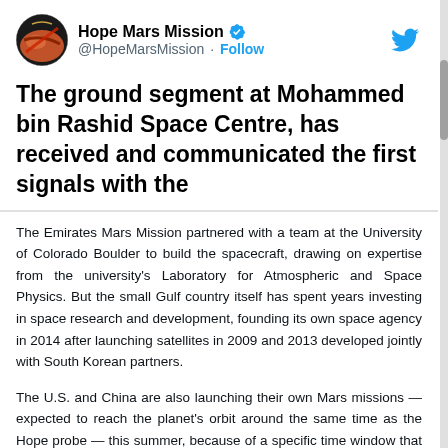[Figure (screenshot): Twitter/X profile header with avatar logo of Hope Mars Mission, showing circular logo with Mars surface image, account name 'Hope Mars Mission' with blue verified checkmark, handle '@HopeMarsMission', Follow link, and Twitter bird icon in top right]
The ground segment at Mohammed bin Rashid Space Centre, has received and communicated the first signals with the
The Emirates Mars Mission partnered with a team at the University of Colorado Boulder to build the spacecraft, drawing on expertise from the university's Laboratory for Atmospheric and Space Physics. But the small Gulf country itself has spent years investing in space research and development, founding its own space agency in 2014 after launching satellites in 2009 and 2013 developed jointly with South Korean partners.
The U.S. and China are also launching their own Mars missions — expected to reach the planet's orbit around the same time as the Hope probe — this summer, because of a specific time window that occurs once every two years where Mars and Earth are closest together.